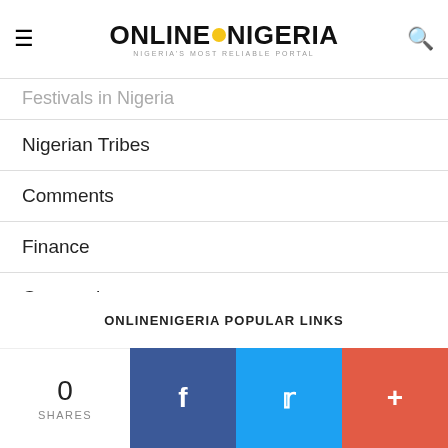ONLINE NIGERIA — NIGERIA'S MOST RELIABLE PORTAL
Festivals in Nigeria
Nigerian Tribes
Comments
Finance
Geography
Geology
Government
Health
ONLINENIGERIA POPULAR LINKS
0 SHARES | Facebook | Twitter | +